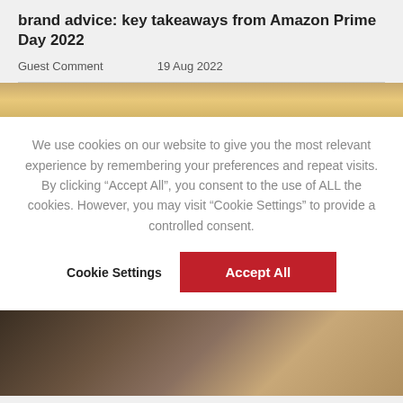brand advice: key takeaways from Amazon Prime Day 2022
Guest Comment	19 Aug 2022
[Figure (photo): Partial outdoor photo strip with golden/warm tones]
We use cookies on our website to give you the most relevant experience by remembering your preferences and repeat visits. By clicking “Accept All”, you consent to the use of ALL the cookies. However, you may visit “Cookie Settings” to provide a controlled consent.
Cookie Settings | Accept All
[Figure (photo): Photo of feet and books on wooden slats, outdoor setting]
GUEST COMMENT The trends set to dominate mobile ecommerce’s future
Guest Comment	18 Aug 2022